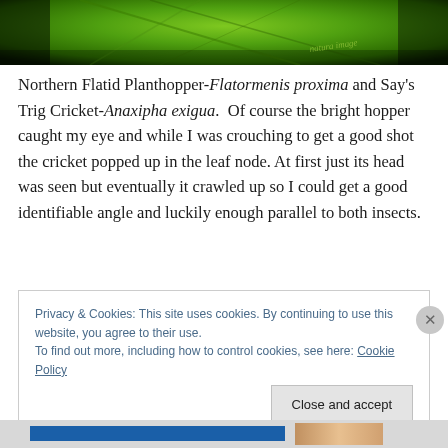[Figure (photo): Close-up photograph of green leaf texture with dark veining, taken outdoors]
Northern Flatid Planthopper-Flatormenis proxima and Say's Trig Cricket-Anaxipha exigua.  Of course the bright hopper caught my eye and while I was crouching to get a good shot the cricket popped up in the leaf node. At first just its head was seen but eventually it crawled up so I could get a good identifiable angle and luckily enough parallel to both insects.
Privacy & Cookies: This site uses cookies. By continuing to use this website, you agree to their use.
To find out more, including how to control cookies, see here: Cookie Policy